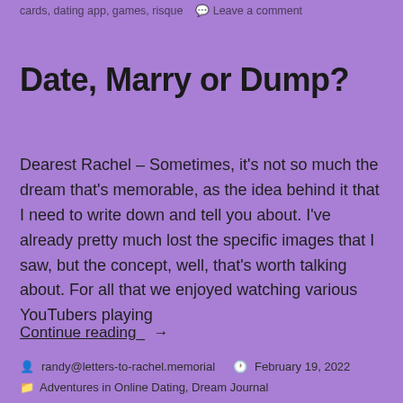cards, dating app, games, risque   Leave a comment
Date, Marry or Dump?
Dearest Rachel – Sometimes, it's not so much the dream that's memorable, as the idea behind it that I need to write down and tell you about. I've already pretty much lost the specific images that I saw, but the concept, well, that's worth talking about. For all that we enjoyed watching various YouTubers playing
Continue reading →
randy@letters-to-rachel.memorial   February 19, 2022   Adventures in Online Dating, Dream Journal